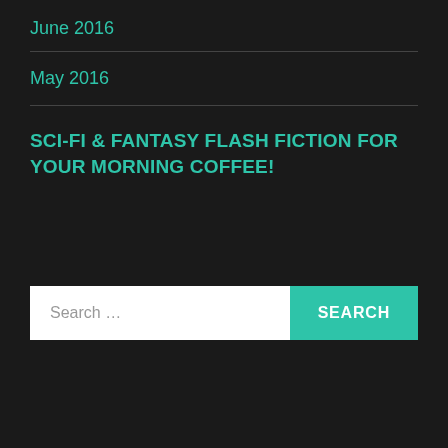June 2016
May 2016
SCI-FI & FANTASY FLASH FICTION FOR YOUR MORNING COFFEE!
Search ...